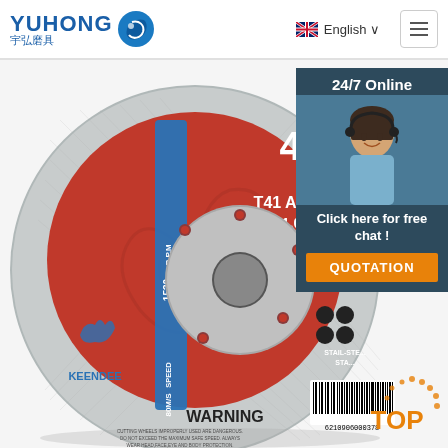YUHONG 宇弘磨具 | English | Navigation menu
[Figure (photo): Product photo of a 4-inch cutting wheel disc (T41 A46SBF, 107x1.0x16mm) with red and grey surfaces. Shows R.P.M 1530, SPEED 80M/S, WARNING text, and KEENDEE brand. ISO 9001 certified. Barcode 6210906000378 visible.]
24/7 Online
Click here for free chat !
QUOTATION
TOP